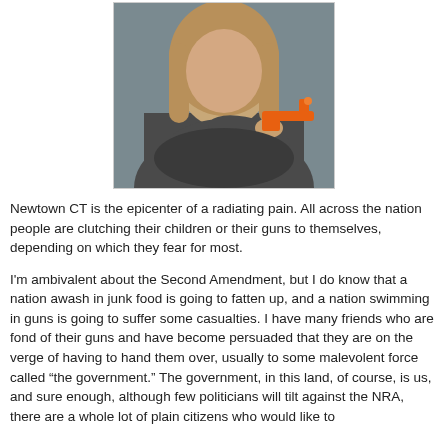[Figure (photo): A woman with long blonde hair wearing a dark grey hoodie, arms crossed, holding a bright orange toy gun in her right hand, against a grey background.]
Newtown CT is the epicenter of a radiating pain. All across the nation people are clutching their children or their guns to themselves, depending on which they fear for most.
I'm ambivalent about the Second Amendment, but I do know that a nation awash in junk food is going to fatten up, and a nation swimming in guns is going to suffer some casualties. I have many friends who are fond of their guns and have become persuaded that they are on the verge of having to hand them over, usually to some malevolent force called “the government.” The government, in this land, of course, is us, and sure enough, although few politicians will tilt against the NRA, there are a whole lot of plain citizens who would like to